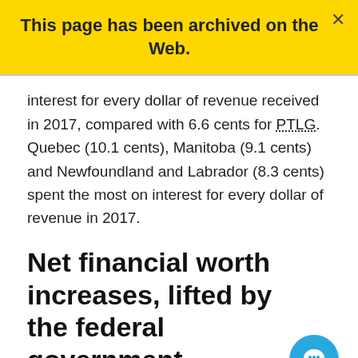This page has been archived on the Web.
interest for every dollar of revenue received in 2017, compared with 6.6 cents for PTLG. Quebec (10.1 cents), Manitoba (9.1 cents) and Newfoundland and Labrador (8.3 cents) spent the most on interest for every dollar of revenue in 2017.
Net financial worth increases, lifted by the federal government